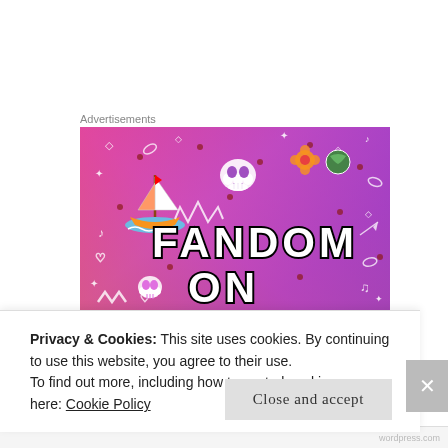Advertisements
[Figure (illustration): Fandom on Tumblr advertisement image with colorful gradient background (pink/orange/purple) and hand-drawn doodle elements. Large bold text reads 'FANDOM ON tumblr' with white outlined doodles of sailboat, skull, dice, flowers, music notes, hearts, arrows, and other fandom symbols.]
Privacy & Cookies: This site uses cookies. By continuing to use this website, you agree to their use.
To find out more, including how to control cookies, see here: Cookie Policy
Close and accept